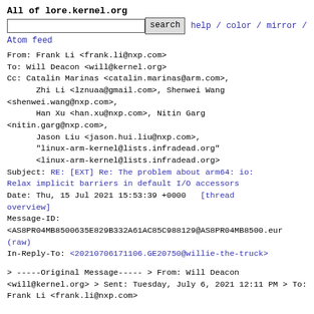All of lore.kernel.org
search  help / color / mirror / Atom feed
From: Frank Li <frank.li@nxp.com>
To: Will Deacon <will@kernel.org>
Cc: Catalin Marinas <catalin.marinas@arm.com>,
      Zhi Li <lznuaa@gmail.com>, Shenwei Wang <shenwei.wang@nxp.com>,
      Han Xu <han.xu@nxp.com>, Nitin Garg <nitin.garg@nxp.com>,
      Jason Liu <jason.hui.liu@nxp.com>,
      "linux-arm-kernel@lists.infradead.org" <linux-arm-kernel@lists.infradead.org>
Subject: RE: [EXT] Re: The problem about arm64: io: Relax implicit barriers in default I/O accessors
Date: Thu, 15 Jul 2021 15:53:39 +0000   [thread overview]
Message-ID:
<AS8PR04MB8500635E829B332A61AC85C988129@AS8PR04MB8500.eur
(raw)
In-Reply-To: <20210706171106.GE20750@willie-the-truck>
> -----Original Message-----
> From: Will Deacon <will@kernel.org>
> Sent: Tuesday, July 6, 2021 12:11 PM
> To: Frank Li <frank.li@nxp.com>